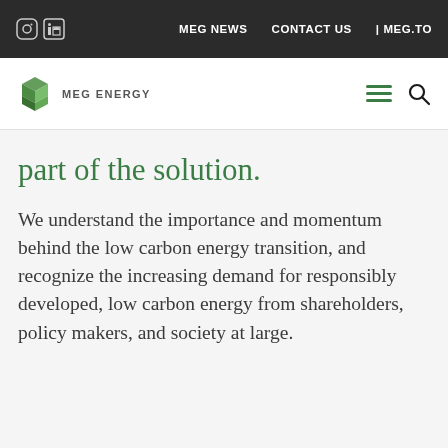MEG NEWS   CONTACT US   | MEG.TO
[Figure (logo): MEG Energy logo with green stacked geometric cube icon and text MEG ENERGY]
part of the solution.
We understand the importance and momentum behind the low carbon energy transition, and recognize the increasing demand for responsibly developed, low carbon energy from shareholders, policy makers, and society at large.